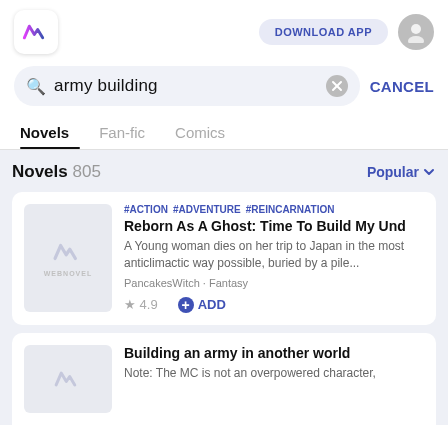[Figure (screenshot): Webnovel app logo in white rounded square box]
DOWNLOAD APP
army building
CANCEL
Novels
Fan-fic
Comics
Novels 805
Popular
#ACTION #ADVENTURE #REINCARNATION
Reborn As A Ghost: Time To Build My Und
A Young woman dies on her trip to Japan in the most anticlimactic way possible, buried by a pile...
PancakesWitch · Fantasy
★ 4.9
+ ADD
Building an army in another world
Note: The MC is not an overpowered character,